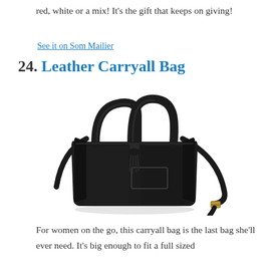red, white or a mix! It's the gift that keeps on giving!
See it on Som Mailier
24. Leather Carryall Bag
[Figure (photo): A black leather carryall tote bag with two handles, a tassel zipper pull, an embossed label patch, and a long shoulder strap with a gold buckle.]
For women on the go, this carryall bag is the last bag she'll ever need. It's big enough to fit a full sized